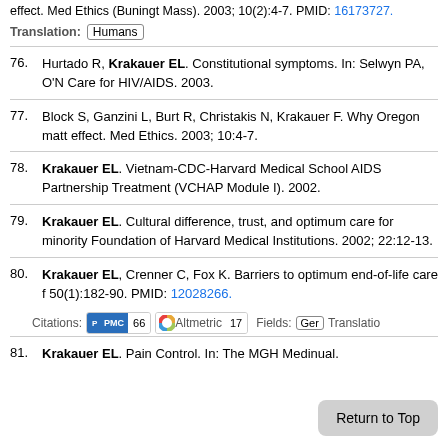effect. Med Ethics (Buningt Mass). 2003; 10(2):4-7. PMID: 16173727.
Translation: Humans
76. Hurtado R, Krakauer EL. Constitutional symptoms. In: Selwyn PA, O'N... Care for HIV/AIDS. 2003.
77. Block S, Ganzini L, Burt R, Christakis N, Krakauer F. Why Oregon matt... effect. Med Ethics. 2003; 10:4-7.
78. Krakauer EL. Vietnam-CDC-Harvard Medical School AIDS Partnership... Treatment (VCHAP Module I). 2002.
79. Krakauer EL. Cultural difference, trust, and optimum care for minority... Foundation of Harvard Medical Institutions. 2002; 22:12-13.
80. Krakauer EL, Crenner C, Fox K. Barriers to optimum end-of-life care f... 50(1):182-90. PMID: 12028266.
Citations: PMC 66 Altmetric 17 Fields: Ger Translatio
81. Krakauer EL. Pain Control. In: The MGH Medi... nual.